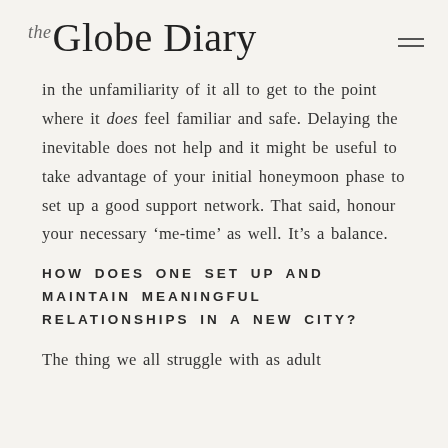the Globe Diary
in the unfamiliarity of it all to get to the point where it does feel familiar and safe. Delaying the inevitable does not help and it might be useful to take advantage of your initial honeymoon phase to set up a good support network. That said, honour your necessary ‘me-time’ as well. It’s a balance.
HOW DOES ONE SET UP AND MAINTAIN MEANINGFUL RELATIONSHIPS IN A NEW CITY?
The thing we all struggle with as adult